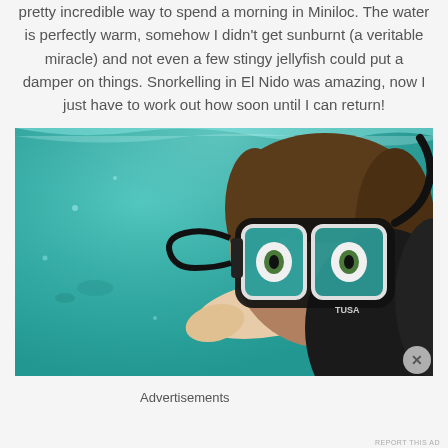pretty incredible way to spend a morning in Miniloc. The water is perfectly warm, somehow I didn't get sunburnt (a veritable miracle) and not even a few stingy jellyfish could put a damper on things. Snorkelling in El Nido was amazing, now I just have to work out how soon until I can return!
[Figure (photo): Underwater selfie of a person wearing a black diving mask and snorkel gear in clear turquoise water, pointing toward the camera with wide eyes visible through the mask.]
Advertisements